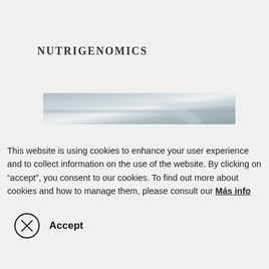NUTRIGENOMICS
[Figure (photo): A blurred horizontal banner image with a steel-blue/grey metallic texture, partially transparent overlay.]
This website is using cookies to enhance your user experience and to collect information on the use of the website. By clicking on “accept”, you consent to our cookies. To find out more about cookies and how to manage them, please consult our Más info
Accept